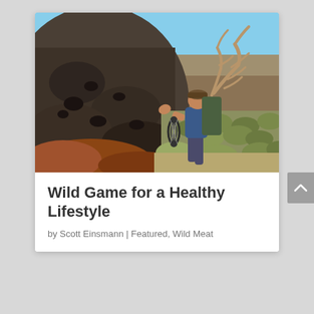[Figure (photo): A hunter carrying elk antlers on his back pack and holding a compound bow, climbing over rocky terrain with sagebrush in the background under a blue sky.]
Wild Game for a Healthy Lifestyle
by Scott Einsmann | Featured, Wild Meat